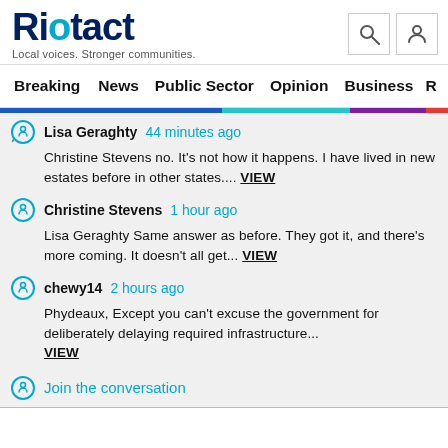Riotact — Local voices. Stronger communities.
Breaking  News  Public Sector  Opinion  Business  R
Lisa Geraghty  44 minutes ago
Christine Stevens no. It's not how it happens. I have lived in new estates before in other states.... VIEW
Christine Stevens  1 hour ago
Lisa Geraghty Same answer as before. They got it, and there's more coming. It doesn't all get... VIEW
chewy14  2 hours ago
Phydeaux, Except you can't excuse the government for deliberately delaying required infrastructure... VIEW
Join the conversation